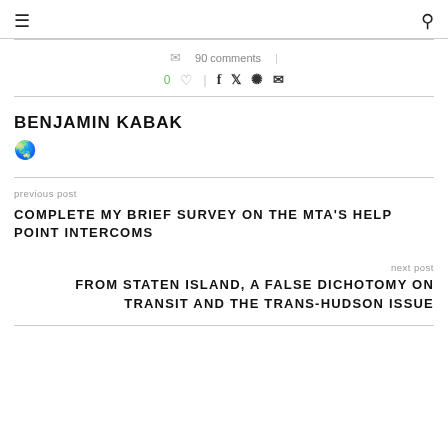≡  🔍
💬 90 comments | 0 ♡ | f t P ✉
BENJAMIN KABAK
🌐
previous post
COMPLETE MY BRIEF SURVEY ON THE MTA'S HELP POINT INTERCOMS
next post
FROM STATEN ISLAND, A FALSE DICHOTOMY ON TRANSIT AND THE TRANS-HUDSON ISSUE